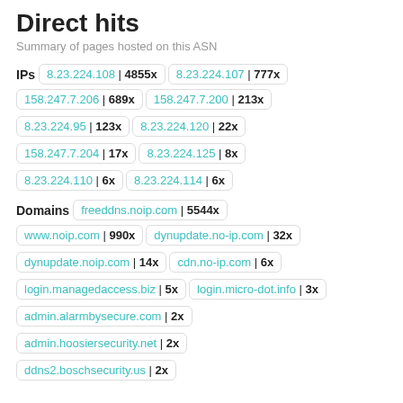Direct hits
Summary of pages hosted on this ASN
IPs  8.23.224.108 | 4855x  8.23.224.107 | 777x  158.247.7.206 | 689x  158.247.7.200 | 213x  8.23.224.95 | 123x  8.23.224.120 | 22x  158.247.7.204 | 17x  8.23.224.125 | 8x  8.23.224.110 | 6x  8.23.224.114 | 6x
Domains  freeddns.noip.com | 5544x  www.noip.com | 990x  dynupdate.no-ip.com | 32x  dynupdate.noip.com | 14x  cdn.no-ip.com | 6x  login.managedaccess.biz | 5x  login.micro-dot.info | 3x  admin.alarmbysecure.com | 2x  admin.hoosiersecurity.net | 2x  ddns2.boschsecurity.us | 2x